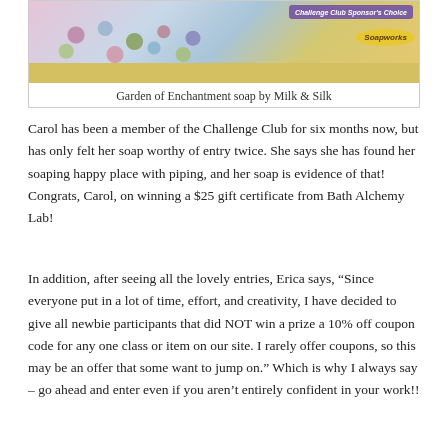[Figure (photo): Photo of a decorative soap bar with floral piping design (Garden of Enchantment soap), with a purple 'Challenge Club Sponsor's Choice' badge and yellow 'Soapworks' badge in the upper right corner.]
Garden of Enchantment soap by Milk & Silk
Carol has been a member of the Challenge Club for six months now, but has only felt her soap worthy of entry twice. She says she has found her soaping happy place with piping, and her soap is evidence of that! Congrats, Carol, on winning a $25 gift certificate from Bath Alchemy Lab!
In addition, after seeing all the lovely entries, Erica says, “Since everyone put in a lot of time, effort, and creativity, I have decided to give all newbie participants that did NOT win a prize a 10% off coupon code for any one class or item on our site. I rarely offer coupons, so this may be an offer that some want to jump on.” Which is why I always say – go ahead and enter even if you aren’t entirely confident in your work!!